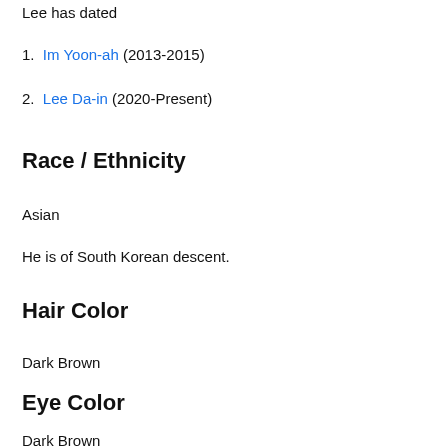Lee has dated
Im Yoon-ah (2013-2015)
Lee Da-in (2020-Present)
Race / Ethnicity
Asian
He is of South Korean descent.
Hair Color
Dark Brown
Eye Color
Dark Brown